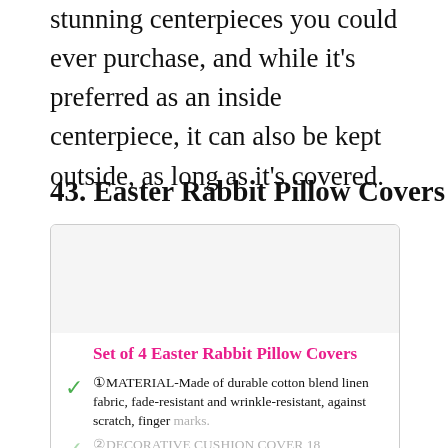stunning centerpieces you could ever purchase, and while it's preferred as an inside centerpiece, it can also be kept outside, as long as it's covered.
43. Easter Rabbit Pillow Covers
[Figure (photo): Product listing card with image placeholder area at top, bold pink title 'Set of 4 Easter Rabbit Pillow Covers', followed by bullet points with green checkmarks listing product features.]
①MATERIAL-Made of durable cotton blend linen fabric, fade-resistant and wrinkle-resistant, against scratch, finger marks.
②DECORATIVE CUSHION COVER 18